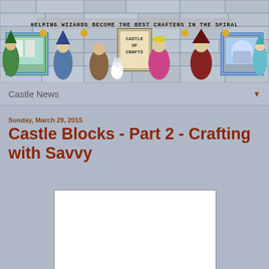[Figure (illustration): Castle of Crafts website banner header showing game characters (wizards, warriors) standing in a stone castle hallway. Text reads 'HELPING WIZARDS BECOME THE BEST CRAFTERS IN THE SPIRAL' with a central logo box labeled 'CASTLE OF CRAFTS'. Various fantasy game characters are depicted along the banner.]
Castle News
Sunday, March 29, 2015
Castle Blocks - Part 2 - Crafting with Savvy
[Figure (screenshot): White rectangular image placeholder (embedded video or image content)]